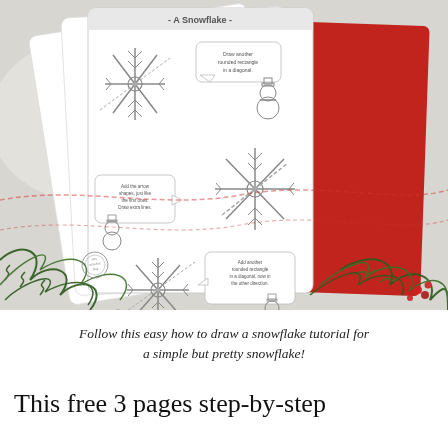[Figure (photo): A Christmas-themed photo showing a stack of white worksheets titled 'A Snowflake' displayed against a holiday background with pine branches and red card, showing step-by-step snowflake drawing instructions with snowflake illustrations and snowman characters.]
Follow this easy how to draw a snowflake tutorial for a simple but pretty snowflake!
This free 3 pages step-by-step